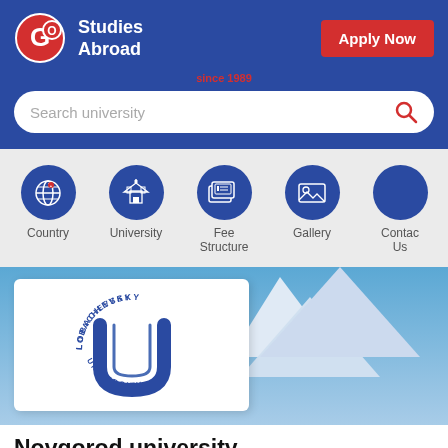[Figure (screenshot): GO Studies Abroad logo with red circle GO and white text]
Apply Now
since 1989
Search university
[Figure (infographic): Navigation icons row: Country (globe), University (building), Fee Structure (card/document), Gallery (image), Contact Us (circle)]
[Figure (logo): Lobachevsky University logo — blue U shape with circular text LOBACHEVSKY UNIVERSITY]
Novgorod university
Apply Now